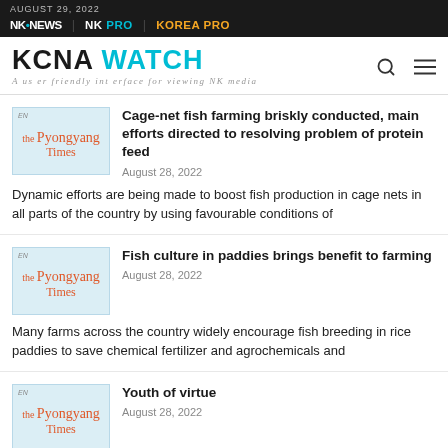AUGUST 29, 2022 | NK NEWS | NK PRO | KOREA PRO
KCNA WATCH - A user friendly interface for viewing NK media
Cage-net fish farming briskly conducted, main efforts directed to resolving problem of protein feed | August 28, 2022 | Dynamic efforts are being made to boost fish production in cage nets in all parts of the country by using favourable conditions of
Fish culture in paddies brings benefit to farming | August 28, 2022 | Many farms across the country widely encourage fish breeding in rice paddies to save chemical fertilizer and agrochemicals and
Youth of virtue | August 28, 2022 | Young people of the DPRK regard it as their pride and duty to devote themselves to society and the collective while relieving the